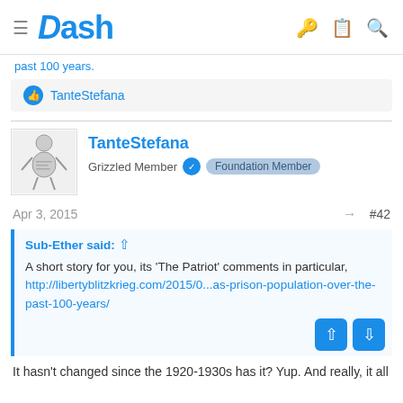Dash
past 100 years.
TanteStefana
TanteStefana
Grizzled Member  Foundation Member
Apr 3, 2015  #42
Sub-Ether said:
A short story for you, its 'The Patriot' comments in particular,
http://libertyblitzkrieg.com/2015/0...as-prison-population-over-the-past-100-years/
It hasn't changed since the 1920-1930s has it? Yup. And really, it all